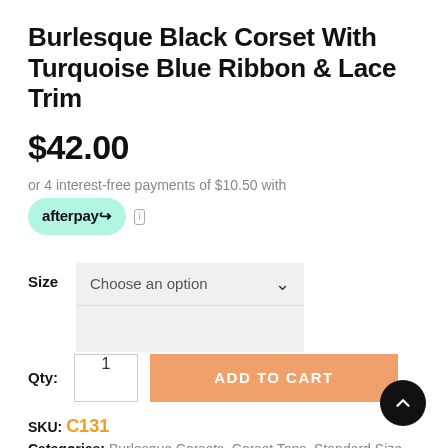Burlesque Black Corset With Turquoise Blue Ribbon & Lace Trim
$42.00
or 4 interest-free payments of $10.50 with afterpay
Size  Choose an option
Qty: 1  ADD TO CART
SKU: C131
Categories: Burlesque Corsets, Corset Tops, Standard Size